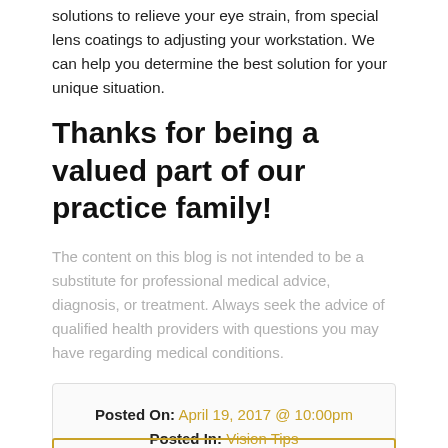solutions to relieve your eye strain, from special lens coatings to adjusting your workstation. We can help you determine the best solution for your unique situation.
Thanks for being a valued part of our practice family!
The content on this blog is not intended to be a substitute for professional medical advice, diagnosis, or treatment. Always seek the advice of qualified health providers with questions you may have regarding medical conditions.
Posted On: April 19, 2017 @ 10:00pm
Posted In: Vision Tips
[Figure (other): Social media share buttons: Facebook, Twitter, LinkedIn]